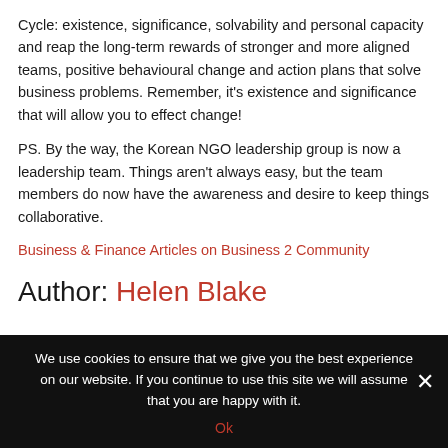Cycle: existence, significance, solvability and personal capacity and reap the long-term rewards of stronger and more aligned teams, positive behavioural change and action plans that solve business problems. Remember, it's existence and significance that will allow you to effect change!
PS. By the way, the Korean NGO leadership group is now a leadership team. Things aren't always easy, but the team members do now have the awareness and desire to keep things collaborative.
Business & Finance Articles on Business 2 Community
Author: Helen Blake
We use cookies to ensure that we give you the best experience on our website. If you continue to use this site we will assume that you are happy with it. Ok